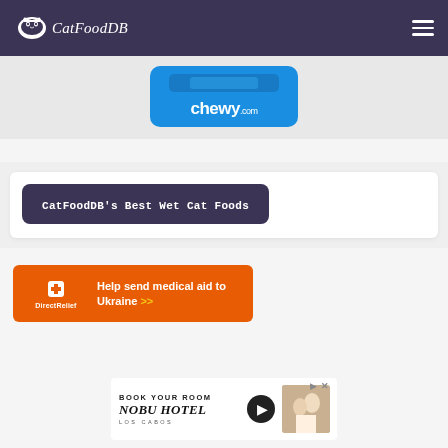CatFoodDB
[Figure (logo): CatFoodDB logo with cat icon on dark purple header background, hamburger menu icon on right]
[Figure (screenshot): Chewy.com blue advertisement card with button and chewy.com logo]
CatFoodDB’s Best Wet Cat Foods
[Figure (infographic): Direct Relief orange banner ad: Help send medical aid to Ukraine >>]
[Figure (screenshot): NOBU HOTEL LOS CABOS advertisement: BOOK YOUR ROOM with play button and couple photo]